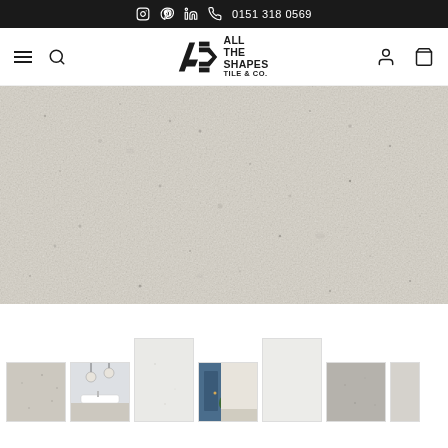0151 318 0569
[Figure (logo): All The Shapes Tile & Co. logo with stylized A and S mark]
[Figure (photo): Large main product image of a light grey/beige stone-effect ceramic tile with subtle speckled texture]
[Figure (photo): Thumbnail 1: close-up of grey beige tile surface]
[Figure (photo): Thumbnail 2: bathroom scene with round hanging lights and white basin]
[Figure (photo): Thumbnail 3: plain light grey tile]
[Figure (photo): Thumbnail 4: room scene with blue door and green plant]
[Figure (photo): Thumbnail 5: plain white/light tile]
[Figure (photo): Thumbnail 6: grey tile swatch]
[Figure (photo): Thumbnail 7: partial grey tile swatch]